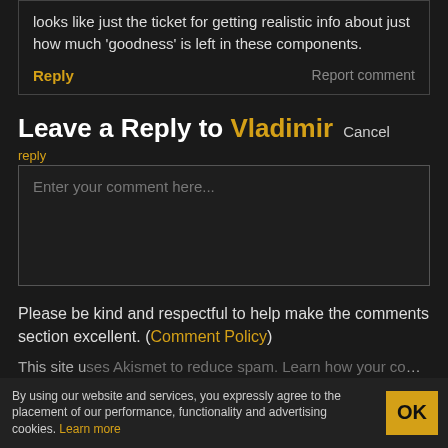looks like just the ticket for getting realistic info about just how much 'goodness' is left in these components.
Reply   Report comment
Leave a Reply to Vladimir Cancel reply
reply
Enter your comment here...
Please be kind and respectful to help make the comments section excellent. (Comment Policy)
This site uses Akismet to reduce spam. Learn how...
By using our website and services, you expressly agree to the placement of our performance, functionality and advertising cookies. Learn more